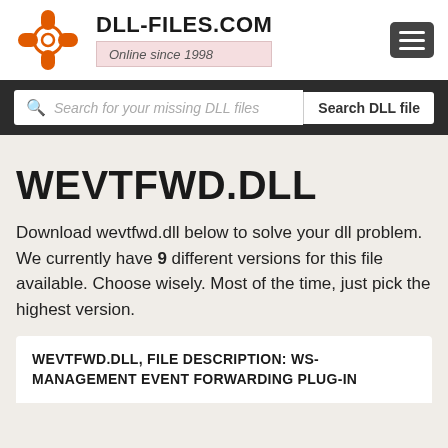[Figure (logo): DLL-FILES.COM logo with orange gear/lifesaver icon and text 'DLL-FILES.COM' and 'Online since 1998']
Search for your missing DLL files
WEVTFWD.DLL
Download wevtfwd.dll below to solve your dll problem. We currently have 9 different versions for this file available. Choose wisely. Most of the time, just pick the highest version.
WEVTFWD.DLL, FILE DESCRIPTION: WS-MANAGEMENT EVENT FORWARDING PLUG-IN